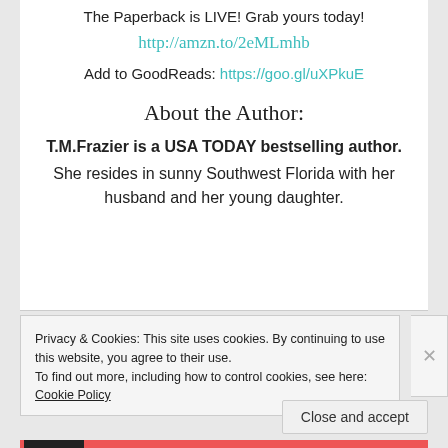The Paperback is LIVE! Grab yours today!
http://amzn.to/2eMLmhb
Add to GoodReads: https://goo.gl/uXPkuE
About the Author:
T.M.Frazier is a USA TODAY bestselling author. She resides in sunny Southwest Florida with her husband and her young daughter.
Privacy & Cookies: This site uses cookies. By continuing to use this website, you agree to their use.
To find out more, including how to control cookies, see here: Cookie Policy
Close and accept